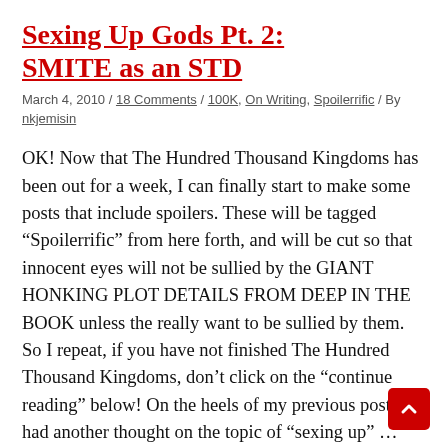Sexing Up Gods Pt. 2: SMITE as an STD
March 4, 2010 / 18 Comments / 100K, On Writing, Spoilerrific / By nkjemisin
OK! Now that The Hundred Thousand Kingdoms has been out for a week, I can finally start to make some posts that include spoilers. These will be tagged “Spoilerrific” from here forth, and will be cut so that innocent eyes will not be sullied by the GIANT HONKING PLOT DETAILS FROM DEEP IN THE BOOK unless the really want to be sullied by them. So I repeat, if you have not finished The Hundred Thousand Kingdoms, don’t click on the “continue reading” below! On the heels of my previous post, I had another thought on the topic of “sexing up” …